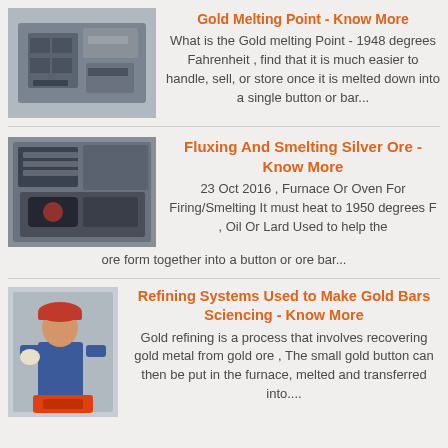Gold Melting Point - Know More
[Figure (photo): Industrial furnace or smelting equipment in a factory setting]
What is the Gold melting Point - 1948 degrees Fahrenheit , find that it is much easier to handle, sell, or store once it is melted down into a single button or bar...
Fluxing And Smelting Silver Ore - Know More
[Figure (photo): Close-up of smelting or mining equipment with machinery parts]
23 Oct 2016 , Furnace Or Oven For Firing/Smelting It must heat to 1950 degrees F , Oil Or Lard Used to help the ore form together into a button or ore bar...
Refining Systems Used to Make Gold Bars Sciencing - Know More
[Figure (photo): Worker in red hard hat and blue overalls working in an industrial/mining facility]
Gold refining is a process that involves recovering gold metal from gold ore , The small gold button can then be put in the furnace, melted and transferred into....